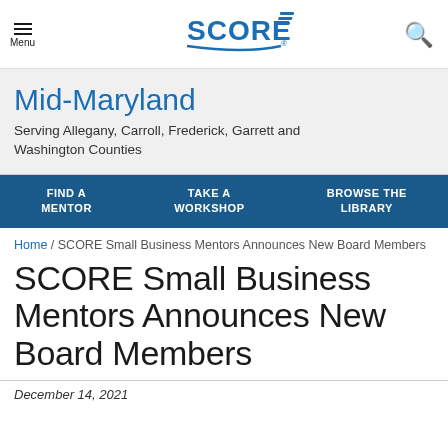[Figure (logo): SCORE logo with blue text and striped flag icon]
Mid-Maryland
Serving Allegany, Carroll, Frederick, Garrett and Washington Counties
FIND A MENTOR   TAKE A WORKSHOP   BROWSE THE LIBRARY
Home / SCORE Small Business Mentors Announces New Board Members
SCORE Small Business Mentors Announces New Board Members
December 14, 2021